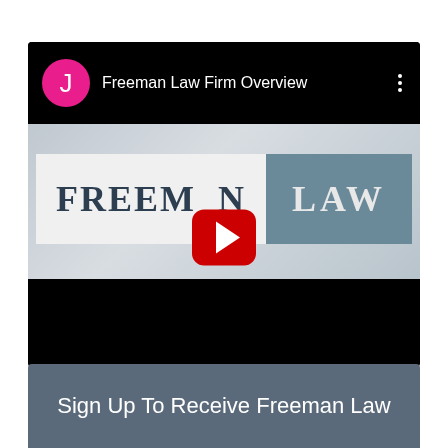[Figure (screenshot): YouTube video card for 'Freeman Law Firm Overview' with a pink avatar showing 'J', three-dot menu, and a thumbnail showing the Freeman Law logo (dark serif text on white/blue-gray banner) with a red YouTube play button overlay on a black background]
Sign Up To Receive Freeman Law